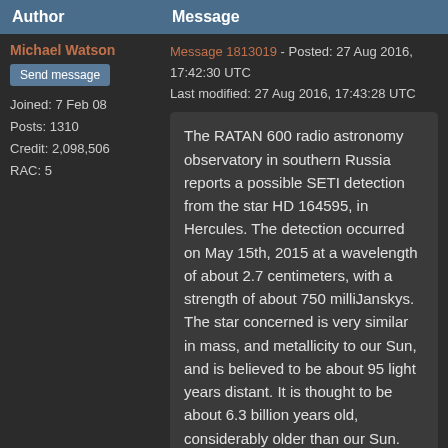| Author | Message |
| --- | --- |
| Michael Watson
Send message
Joined: 7 Feb 08
Posts: 1310
Credit: 2,098,506
RAC: 5 | Message 1813019 - Posted: 27 Aug 2016, 17:42:30 UTC
Last modified: 27 Aug 2016, 17:43:28 UTC

The RATAN 600 radio astronomy observatory in southern Russia reports a possible SETI detection from the star HD 164595, in Hercules. The detection occurred on May 15th, 2015 at a wavelength of about 2.7 centimeters, with a strength of about 750 milliJanskys. The star concerned is very similar in mass, and metallicity to our Sun, and is believed to be about 95 light years distant. It is thought to be about 6.3 billion years old, considerably older than our Sun. |